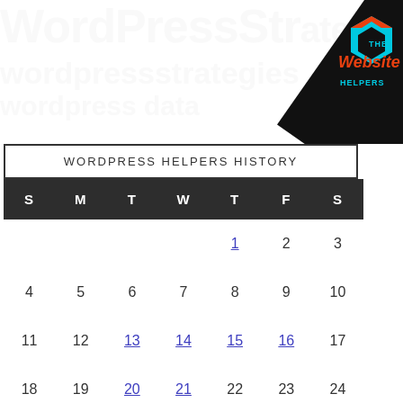[Figure (logo): The Website Helpers logo badge in upper right corner with hexagon icon in cyan/orange and diagonal black banner with text 'THE Website HELPERS']
WORDPRESS HELPERS HISTORY
| S | M | T | W | T | F | S |
| --- | --- | --- | --- | --- | --- | --- |
|  |  |  |  | 1 | 2 | 3 |
| 4 | 5 | 6 | 7 | 8 | 9 | 10 |
| 11 | 12 | 13 | 14 | 15 | 16 | 17 |
| 18 | 19 | 20 | 21 | 22 | 23 | 24 |
| 25 | 26 | 27 | 28 | 29 | 30 | 31 |
« Dec  Feb »